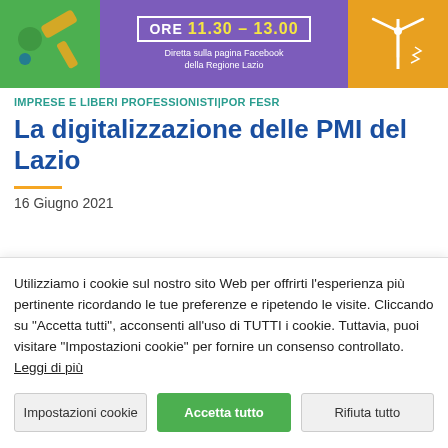[Figure (illustration): Promotional banner with three sections: green background with gavel/law icon on left, purple center with text 'ORE 11.30 – 13.00' in a box and 'Diretta sulla pagina Facebook della Regione Lazio' below, orange right section with wind turbine icon.]
IMPRESE E LIBERI PROFESSIONISTI|POR FESR
La digitalizzazione delle PMI del Lazio
16 Giugno 2021
[Figure (photo): Partial photo showing green foliage on the left and grey background on the right.]
Utilizziamo i cookie sul nostro sito Web per offrirti l'esperienza più pertinente ricordando le tue preferenze e ripetendo le visite. Cliccando su "Accetta tutti", acconsenti all'uso di TUTTI i cookie. Tuttavia, puoi visitare "Impostazioni cookie" per fornire un consenso controllato. Leggi di più
Impostazioni cookie | Accetta tutto | Rifiuta tutto